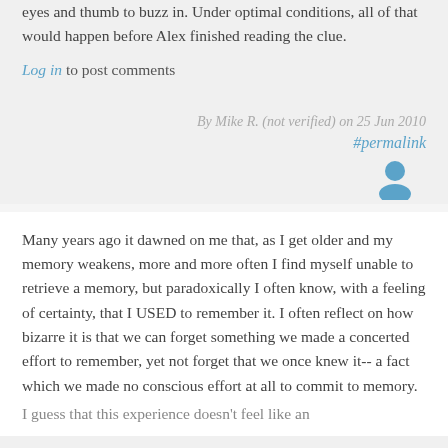eyes and thumb to buzz in. Under optimal conditions, all of that would happen before Alex finished reading the clue.
Log in to post comments
By Mike R. (not verified) on 25 Jun 2010
#permalink
[Figure (illustration): User avatar icon in blue]
Many years ago it dawned on me that, as I get older and my memory weakens, more and more often I find myself unable to retrieve a memory, but paradoxically I often know, with a feeling of certainty, that I USED to remember it. I often reflect on how bizarre it is that we can forget something we made a concerted effort to remember, yet not forget that we once knew it-- a fact which we made no conscious effort at all to commit to memory.
I guess that this experience doesn't feel like an